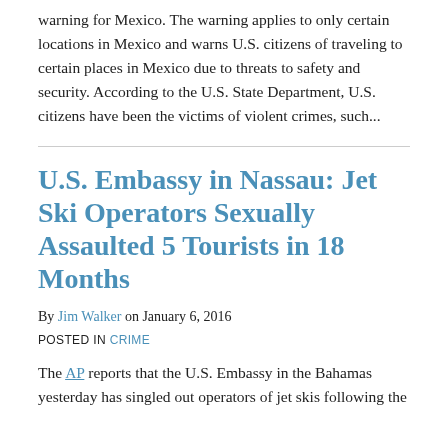warning for Mexico. The warning applies to only certain locations in Mexico and warns U.S. citizens of traveling to certain places in Mexico due to threats to safety and security. According to the U.S. State Department, U.S. citizens have been the victims of violent crimes, such...
U.S. Embassy in Nassau: Jet Ski Operators Sexually Assaulted 5 Tourists in 18 Months
By Jim Walker on January 6, 2016
POSTED IN CRIME
The AP reports that the U.S. Embassy in the Bahamas yesterday has singled out operators of jet skis following the